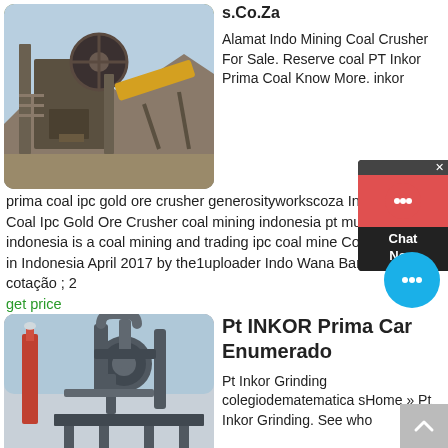[Figure (photo): Industrial coal crusher / mining equipment with conveyor belts and machinery against a blue sky and rocky hillside background]
s.Co.Za
Alamat Indo Mining Coal Crusher For Sale. Reserve coal PT Inkor Prima Coal Know More. inkor prima coal ipc gold ore crusher generosityworkscoza Inkor Prima Coal Ipc Gold Ore Crusher coal mining indonesia pt multi prima coal indonesia is a coal mining and trading ipc coal mine Coal Business in Indonesia April 2017 by the1uploader Indo Wana Bara . Obter cotação ; 2
get price
[Figure (photo): Industrial grinding or processing facility with large cylindrical equipment, pipes, and a chimney stack]
Pt INKOR Prima Cara Enumerado
Pt Inkor Grinding colegiodematematicasHome » Pt Inkor Grinding. See who